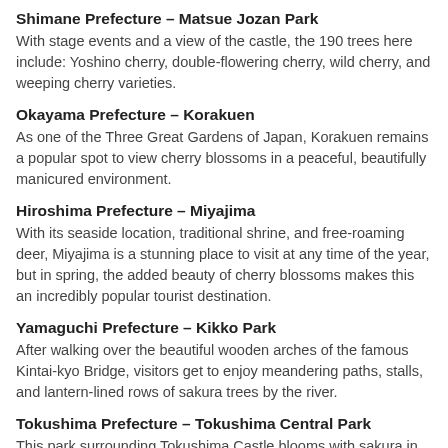Shimane Prefecture – Matsue Jozan Park
With stage events and a view of the castle, the 190 trees here include: Yoshino cherry, double-flowering cherry, wild cherry, and weeping cherry varieties.
Okayama Prefecture – Korakuen
As one of the Three Great Gardens of Japan, Korakuen remains a popular spot to view cherry blossoms in a peaceful, beautifully manicured environment.
Hiroshima Prefecture – Miyajima
With its seaside location, traditional shrine, and free-roaming deer, Miyajima is a stunning place to visit at any time of the year, but in spring, the added beauty of cherry blossoms makes this an incredibly popular tourist destination.
Yamaguchi Prefecture – Kikko Park
After walking over the beautiful wooden arches of the famous Kintai-kyo Bridge, visitors get to enjoy meandering paths, stalls, and lantern-lined rows of sakura trees by the river.
Tokushima Prefecture – Tokushima Central Park
This park surrounding Tokushima Castle blooms with sakura in the spring,